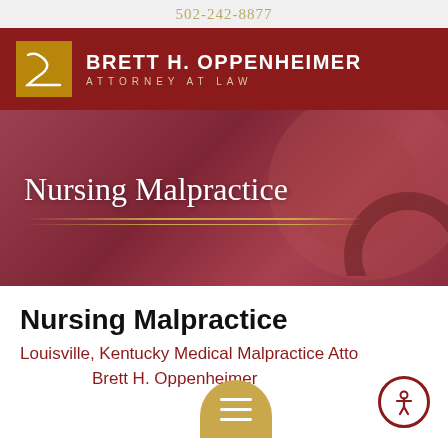502-242-8877
[Figure (logo): Brett H. Oppenheimer Attorney at Law logo with gold square icon and white text on dark red background]
[Figure (photo): Hero banner image showing Nursing Malpractice heading over a reddish background with stethoscope and gavel imagery]
Nursing Malpractice
Louisville, Kentucky Medical Malpractice Attorney Brett H. Oppenheimer